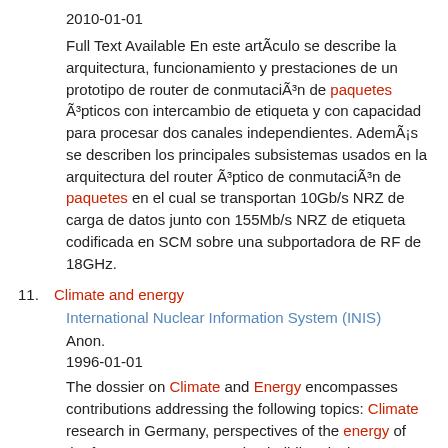2010-01-01
Full Text Available En este artÃculo se describe la arquitectura, funcionamiento y prestaciones de un prototipo de router de conmutaciÃ³n de paquetes Ã³pticos con intercambio de etiqueta y con capacidad para procesar dos canales independientes. AdemÃ¡s se describen los principales subsistemas usados en la arquitectura del router Ã³ptico de conmutaciÃ³n de paquetes en el cual se transportan 10Gb/s NRZ de carga de datos junto con 155Mb/s NRZ de etiqueta codificada en SCM sobre una subportadora de RF de 18GHz.
11. Climate and energy
International Nuclear Information System (INIS)
Anon.
1996-01-01
The dossier on Climate and Energy encompasses contributions addressing the following topics: Climate research in Germany, perspectives of the energy of the future; Energy-conserving building design, construction and retrofitting; Companies